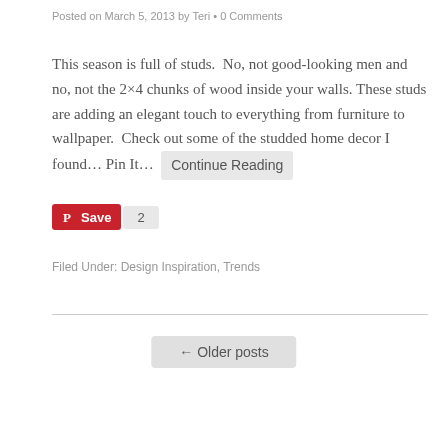Posted on March 5, 2013 by Teri • 0 Comments
This season is full of studs.  No, not good-looking men and no, not the 2×4 chunks of wood inside your walls. These studs are adding an elegant touch to everything from furniture to wallpaper.  Check out some of the studded home decor I found… Pin It…  Continue Reading
[Figure (other): Pinterest Save button with count of 2]
Filed Under: Design Inspiration, Trends
← Older posts